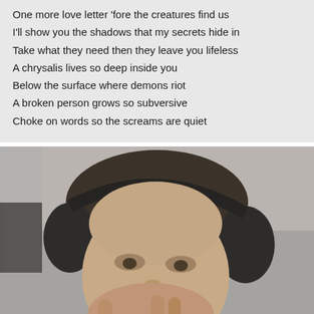One more love letter 'fore the creatures find us
I'll show you the shadows that my secrets hide in
Take what they need then they leave you lifeless
A chrysalis lives so deep inside you
Below the surface where demons riot
A broken person grows so subversive
Choke on words so the screams are quiet
[Figure (photo): A person wearing black headphones, face close to the camera, appearing to laugh or smile while covering their mouth with their hand. The image is blurry/motion blurred.]